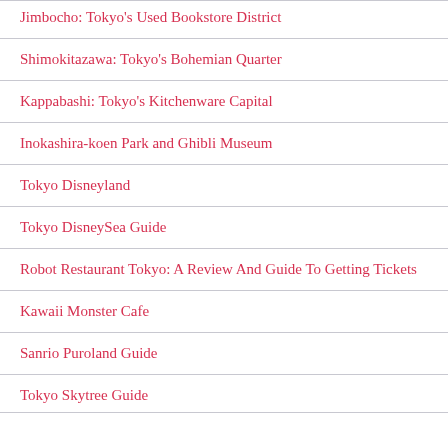Jimbocho: Tokyo's Used Bookstore District
Shimokitazawa: Tokyo's Bohemian Quarter
Kappabashi: Tokyo's Kitchenware Capital
Inokashira-koen Park and Ghibli Museum
Tokyo Disneyland
Tokyo DisneySea Guide
Robot Restaurant Tokyo: A Review And Guide To Getting Tickets
Kawaii Monster Cafe
Sanrio Puroland Guide
Tokyo Skytree Guide